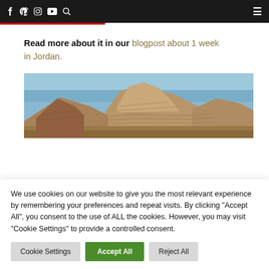Facebook Pinterest Instagram YouTube Search | Menu
Read more about it in our blogpost about 1 week in Jordan.
[Figure (photo): Photograph of sandstone rock formations in Jordan against a blue sky]
We use cookies on our website to give you the most relevant experience by remembering your preferences and repeat visits. By clicking “Accept All”, you consent to the use of ALL the cookies. However, you may visit "Cookie Settings" to provide a controlled consent.